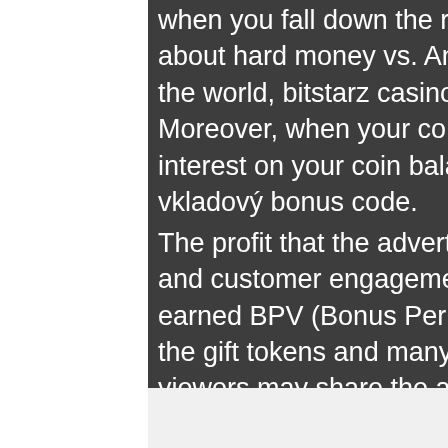when you fall down the rabbit hole and you start learning about hard money vs. And I truly believe it's going to change the world, bitstarz casino žádný vkladový bonus code. Moreover, when your coins reach 35,000 then you get 5% interest on your coin balance as well, bitstarz casino žádný vkladový bonus code.
The profit that the advertiser gets is an unprecedented range and customer engagement. The addressees can use the earned BPV (Bonus Per Vies) points for exchanging them for the gift tokens and many more. Additionally, the addresses viewers may share the advertisements with one another getting special bonuses in return, bitstarz casino žádný vkladový bonus code. The Ojooo platform offers you as advertiser a unique opportunity of advertising
[Figure (other): Email envelope icon (pink/magenta) at the bottom center of the dark panel]
[Figure (photo): Right side photo showing stacked books or records with colorful spines, partially visible]